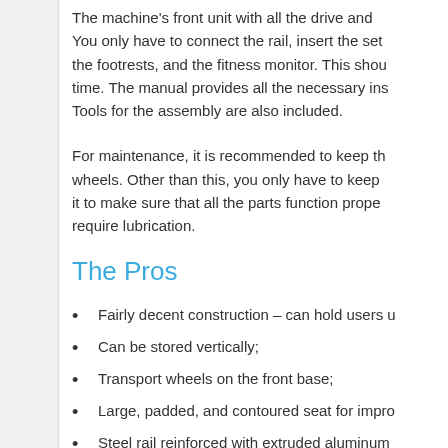The machine's front unit with all the drive and You only have to connect the rail, insert the set the footrests, and the fitness monitor. This shou time. The manual provides all the necessary ins Tools for the assembly are also included.
For maintenance, it is recommended to keep th wheels. Other than this, you only have to keep it to make sure that all the parts function prope require lubrication.
The Pros
Fairly decent construction – can hold users u
Can be stored vertically;
Transport wheels on the front base;
Large, padded, and contoured seat for impro
Steel rail reinforced with extruded aluminum
Pivoting footrests with adjustable straps;